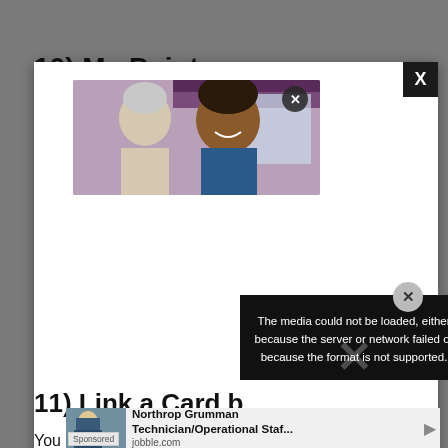10) My Points
[Figure (screenshot): White modal dialog open over gray background, showing a healthcare photo of a smiling nurse with an elderly patient, with a close button (X) in the top-right corner of the modal, and a video close button on the image]
[Figure (screenshot): Black error box with text 'The media could not be loaded, either because the server or network failed or because the format is not supported.' with a large translucent X overlay, and a gray circular X dismiss button]
11) Link a Card b
[Figure (screenshot): Sponsored advertisement bar from jobble.com for Northrop Grumman Technician/Operational Staff position, with an image of a woman in hijab, sponsored label, and navigation arrows]
You